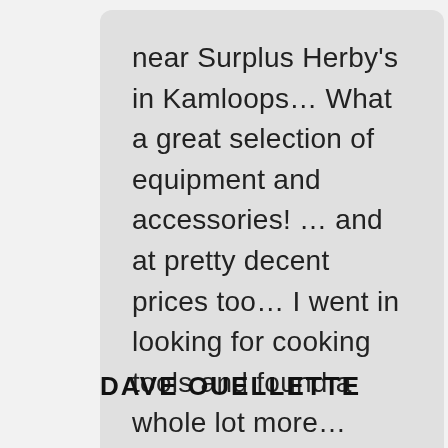near Surplus Herby's in Kamloops… What a great selection of equipment and accessories! … and at pretty decent prices too… I went in looking for cooking tools and found a whole lot more… thanks Bruce and Leah… you were very helpful.
DAVE OUELLETTE